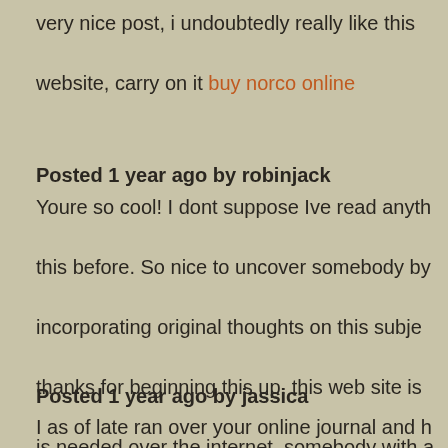very nice post, i undoubtedly really like this website, carry on it buy norco online
Posted 1 year ago by robinjack
Youre so cool! I dont suppose Ive read anything this before. So nice to uncover somebody by incorporating original thoughts on this subject. thanks for beginning this up. this web site is is needed over the internet, somebody with a originality. valuable work for bringing something new to the internet! Daniel Gordon IMDB
Posted 1 year ago by jassica
I as of late ran over your online journal and h perusing along. I thought I would leave my fi